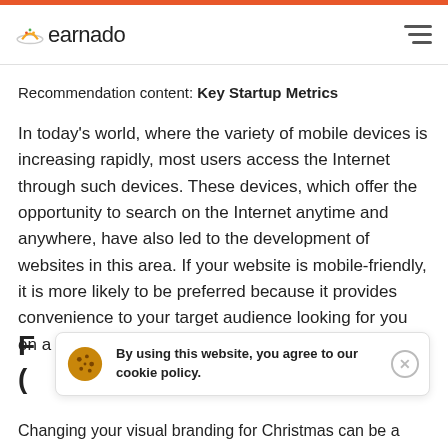earnado
Recommendation content: Key Startup Metrics
In today’s world, where the variety of mobile devices is increasing rapidly, most users access the Internet through such devices. These devices, which offer the opportunity to search on the Internet anytime and anywhere, have also led to the development of websites in this area. If your website is mobile-friendly, it is more likely to be preferred because it provides convenience to your target audience looking for you on a mobile basis.
By using this website, you agree to our cookie policy.
Changing your visual branding for Christmas can be a